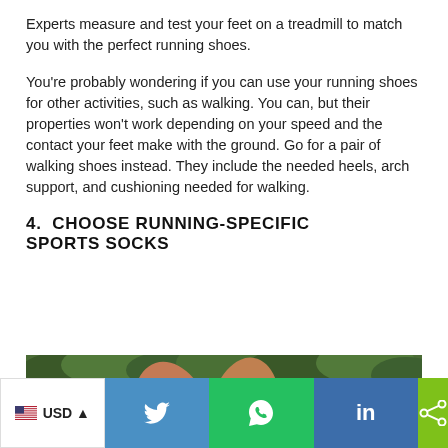Experts measure and test your feet on a treadmill to match you with the perfect running shoes.
You're probably wondering if you can use your running shoes for other activities, such as walking. You can, but their properties won't work depending on your speed and the contact your feet make with the ground. Go for a pair of walking shoes instead. They include the needed heels, arch support, and cushioning needed for walking.
4.  CHOOSE RUNNING-SPECIFIC SPORTS SOCKS
[Figure (photo): Photo of a runner's bare legs against a leafy green background, partially cropped]
USD  Twitter  WhatsApp  LinkedIn  Share